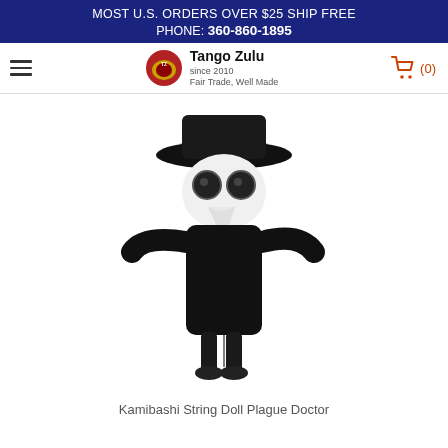MOST U.S. ORDERS OVER $25 SHIP FREE
PHONE: 360-860-1895
[Figure (logo): Tango Zulu logo with shopping cart icon. Logo shows a circular emblem with text 'Tango Zulu since 2010 Fair Trade, Well Made'. Orange shopping cart icon with (0) label.]
[Figure (photo): A Kamibashi String Doll Plague Doctor plush toy. The doll is dressed in black robes and a black wide-brimmed hat, with a white beak-like mask and large round goggle eyes. It has outstretched arms and small black feet.]
Kamibashi String Doll Plague Doctor